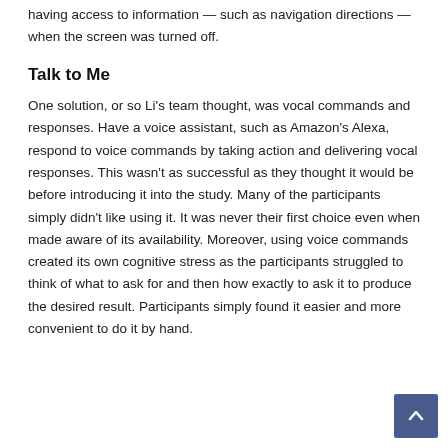having access to information — such as navigation directions — when the screen was turned off.
Talk to Me
One solution, or so Li's team thought, was vocal commands and responses. Have a voice assistant, such as Amazon's Alexa, respond to voice commands by taking action and delivering vocal responses. This wasn't as successful as they thought it would be before introducing it into the study. Many of the participants simply didn't like using it. It was never their first choice even when made aware of its availability. Moreover, using voice commands created its own cognitive stress as the participants struggled to think of what to ask for and then how exactly to ask it to produce the desired result. Participants simply found it easier and more convenient to do it by hand.